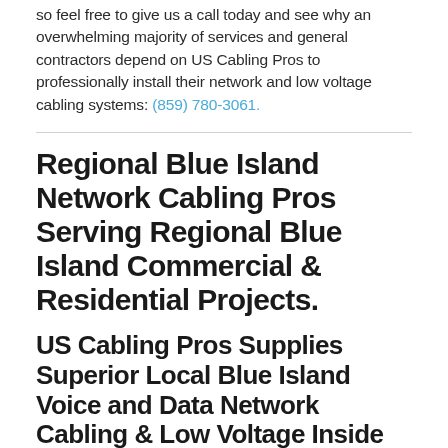so feel free to give us a call today and see why an overwhelming majority of services and general contractors depend on US Cabling Pros to professionally install their network and low voltage cabling systems: (859) 780-3061.
Regional Blue Island Network Cabling Pros Serving Regional Blue Island Commercial & Residential Projects.
US Cabling Pros Supplies Superior Local Blue Island Voice and Data Network Cabling & Low Voltage Inside Wiring Tech Solutions.